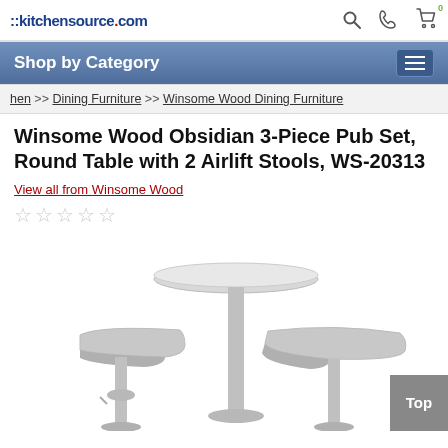::kitchensource.com
Shop by Category
hen >> Dining Furniture >> Winsome Wood Dining Furniture
Winsome Wood Obsidian 3-Piece Pub Set, Round Table with 2 Airlift Stools, WS-20313
View all from Winsome Wood
[Figure (photo): Product photo of Winsome Wood Obsidian 3-Piece Pub Set showing a round pub table with pedestal base flanked by two airlift bar stools in silver/grey finish]